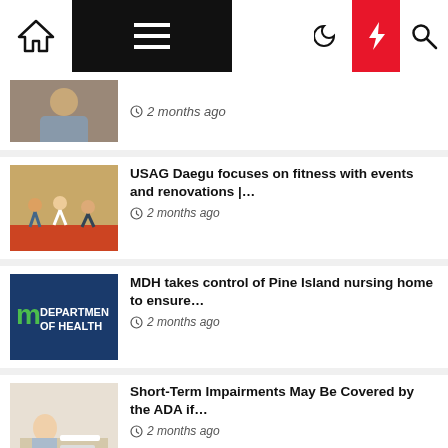Navigation bar with home, menu, moon, bolt, search icons
2 months ago
USAG Daegu focuses on fitness with events and renovations |… — 2 months ago
MDH takes control of Pine Island nursing home to ensure… — 2 months ago
Short-Term Impairments May Be Covered by the ADA if… — 2 months ago
Injectable hydrogel treats back pain from damaged discs in… — 2 months ago